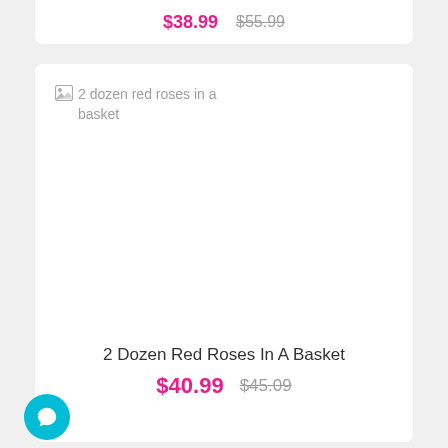$38.99  $55.99
[Figure (screenshot): Broken image placeholder for '2 dozen red roses in a basket']
2 Dozen Red Roses In A Basket
$40.99  $45.09
[Figure (screenshot): Broken image placeholder for '2 dozen yellow roses in a vase']